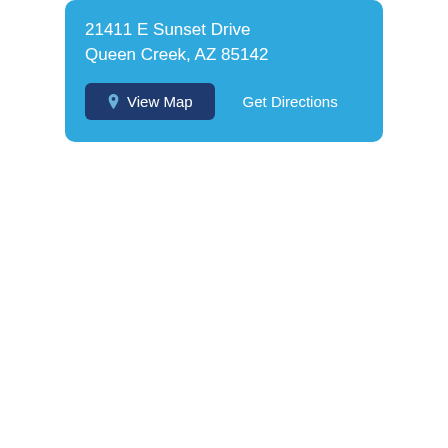21411 E Sunset Drive
Queen Creek, AZ 85142
[Figure (screenshot): A blue card UI element with address '21411 E Sunset Drive, Queen Creek, AZ 85142', a dark blue 'View Map' button with a map pin icon, and a 'Get Directions' link in white text.]